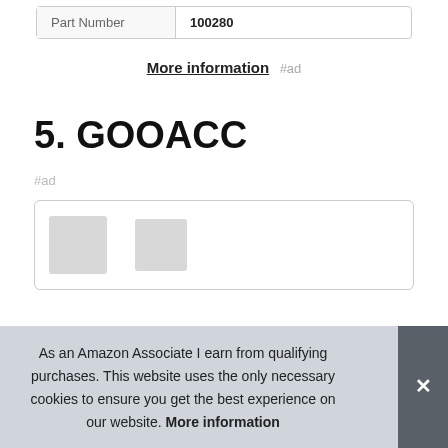| Part Number | 100280 |
More information #ad
5. GOOACC
#ad
[Figure (screenshot): Product card with thumbnail images partially visible]
As an Amazon Associate I earn from qualifying purchases. This website uses the only necessary cookies to ensure you get the best experience on our website. More information